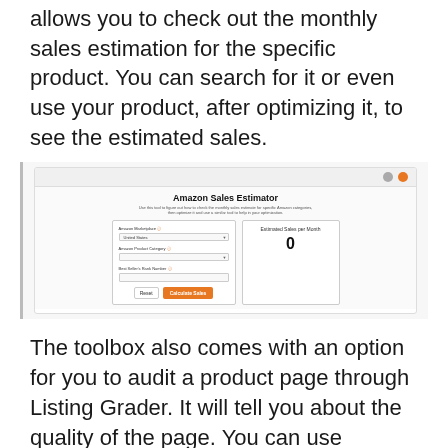allows you to check out the monthly sales estimation for the specific product. You can search for it or even use your product, after optimizing it, to see the estimated sales.
[Figure (screenshot): Screenshot of Amazon Sales Estimator tool showing a form with fields for Amazon Marketplace, Amazon Product Category, Best Seller's Rank Number, and a Predicted Sales per Month display showing 0, with Reset and Calculate Sales buttons.]
The toolbox also comes with an option for you to audit a product page through Listing Grader. It will tell you about the quality of the page. You can use Toolbox to start the bare basic research for finding the right product or analyzing the competitors.